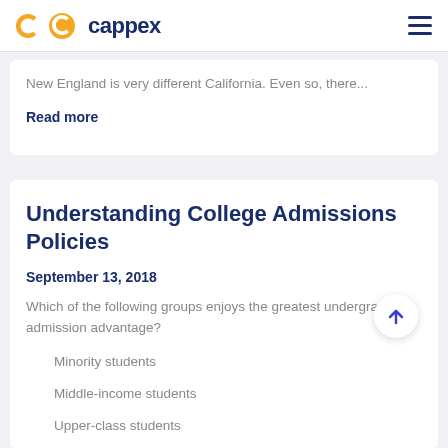cappex
New England is very different California. Even so, there...
Read more
Understanding College Admissions Policies
September 13, 2018
Which of the following groups enjoys the greatest undergraduate admission advantage?
Minority students
Middle-income students
Upper-class students